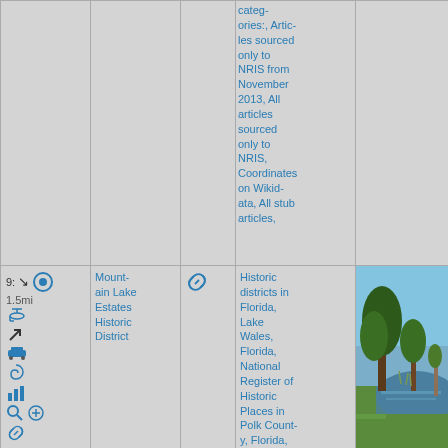|  |  |  | Categories |  |
| --- | --- | --- | --- | --- |
|  |  |  | categories:, Articles sourced only to NRIS from November 2013, All articles sourced only to NRIS, Coordinates on Wikidata, All stub articles, |  |
| 9: ↘ 1.5mi 🚁 ↗ 🚗 🌀 📊 🔍 ⊕ 🔗 | Mountain Lake Estates Historic District | 🔗 | Historic districts in Florida, Lake Wales, Florida, National Register of Historic Places in Polk County, Florida, Polk County, Florida Registered | [photo] |